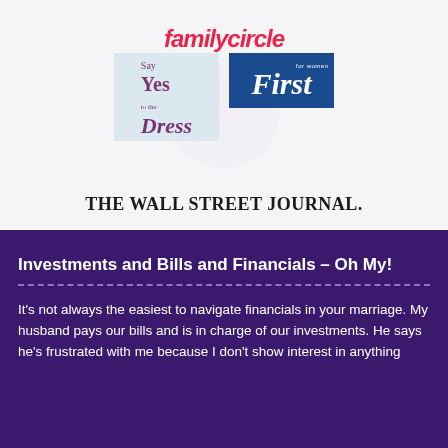[Figure (logo): Collage of media logos: FamilyCircle (red italic), Say Yes to the Dress (blue box), First for Women (navy box with white serif text), The Wall Street Journal (bold serif)]
Investments and Bills and Financials – Oh My!
It's not always the easiest to navigate financials in your marriage. My husband pays our bills and is in charge of our investments. He says he's frustrated with me because I don't show interest in anything financial. I can honestly say I don't know what I'm